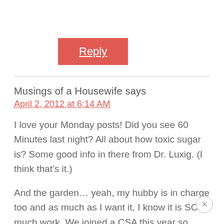[Figure (screenshot): Red 'Reply' button with white underlined text]
Musings of a Housewife says
April 2, 2012 at 6:14 AM
I love your Monday posts! Did you see 60 Minutes last night? All about how toxic sugar is? Some good info in there from Dr. Luxig. (I think that's it.)
And the garden… yeah, my hubby is in charge too and as much as I want it, I know it is SO much work. We joined a CSA this year so perhaps we don't need it.